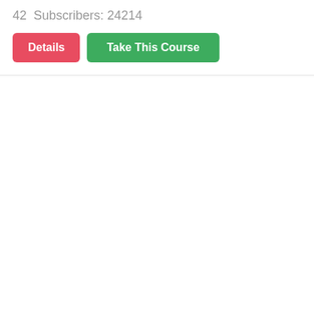42  Subscribers: 24214
Details  Take This Course